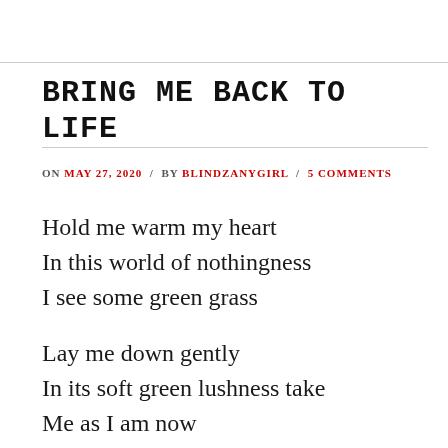BRING ME BACK TO LIFE
ON MAY 27, 2020 / BY BLINDZANYGIRL / 5 COMMENTS
Hold me warm my heart
In this world of nothingness
I see some green grass

Lay me down gently
In its soft green lushness take
Me as I am now